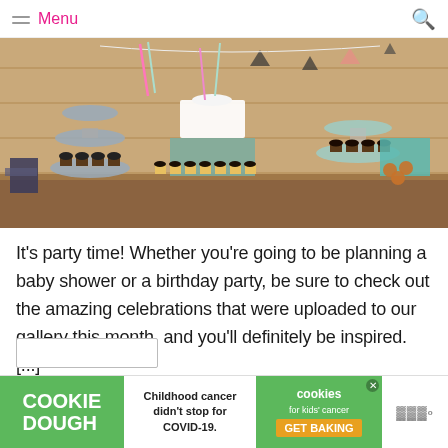Menu
[Figure (photo): A dessert table with tiered stands holding cupcakes and cakes, decorated with feathers and boho-style ornaments against a wooden plank background.]
It's party time! Whether you're going to be planning a baby shower or a birthday party, be sure to check out the amazing celebrations that were uploaded to our gallery this month, and you'll definitely be inspired. [...]
[Figure (infographic): Cookie Dough advertisement banner: 'Childhood cancer didn't stop for COVID-19.' with Cookies for Kids' Cancer logo and GET BAKING call to action.]